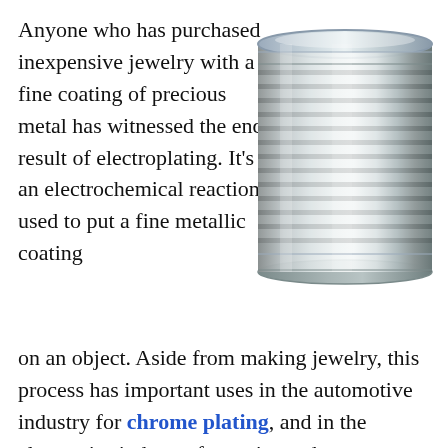Anyone who has purchased inexpensive jewelry with a fine coating of precious metal has witnessed the end result of electroplating. It's an electrochemical reaction used to put a fine metallic coating on an object. Aside from making jewelry, this process has important uses in the automotive industry for chrome plating, and in the electronics industry for optics and sensors.
[Figure (photo): A shiny silver metal tin can with ribbed sides, shown from a slightly elevated angle against a white background.]